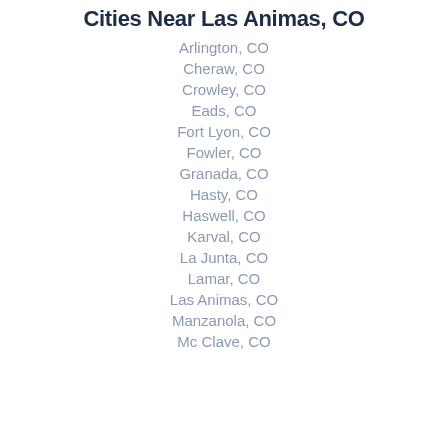Cities Near Las Animas, CO
Arlington, CO
Cheraw, CO
Crowley, CO
Eads, CO
Fort Lyon, CO
Fowler, CO
Granada, CO
Hasty, CO
Haswell, CO
Karval, CO
La Junta, CO
Lamar, CO
Las Animas, CO
Manzanola, CO
Mc Clave, CO